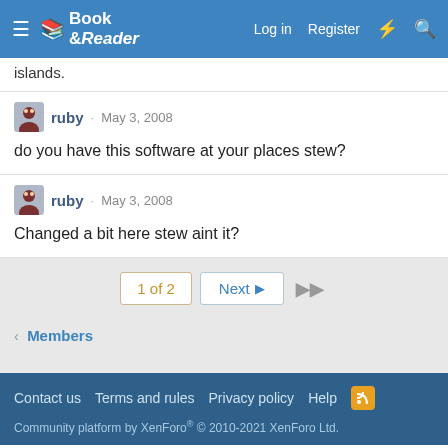Book & Reader — Log in  Register
islands.
ruby · May 3, 2008
do you have this software at your places stew?
ruby · May 3, 2008
Changed a bit here stew aint it?
1 of 2  Next  ▶▶
< Members
Contact us  Terms and rules  Privacy policy  Help
Community platform by XenForo® © 2010-2021 XenForo Ltd.